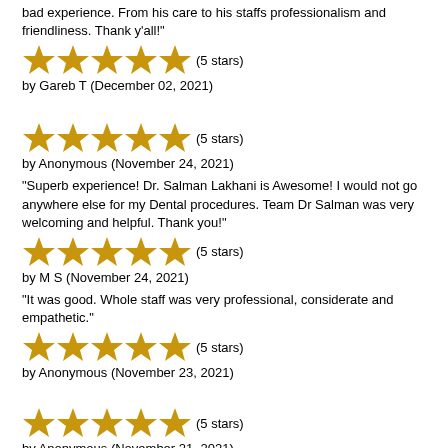bad experience. From his care to his staffs professionalism and friendliness. Thank y'all!"
[Figure (other): 5 gold stars rating]
(5 stars)
by Gareb T (December 02, 2021)
[Figure (other): 5 gold stars rating]
(5 stars)
by Anonymous (November 24, 2021)
"Superb experience! Dr. Salman Lakhani is Awesome! I would not go anywhere else for my Dental procedures. Team Dr Salman was very welcoming and helpful. Thank you!"
[Figure (other): 5 gold stars rating]
(5 stars)
by M S (November 24, 2021)
"It was good. Whole staff was very professional, considerate and empathetic."
[Figure (other): 5 gold stars rating]
(5 stars)
by Anonymous (November 23, 2021)
[Figure (other): 5 gold stars rating]
(5 stars)
by Anonymous (November 21, 2021)